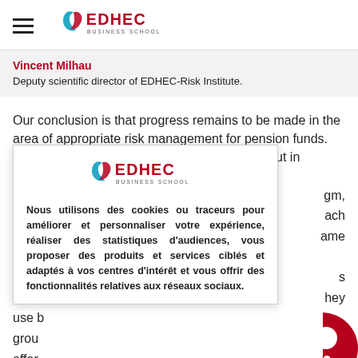EDHEC BUSINESS SCHOOL
Vincent Milhau
Deputy scientific director of EDHEC-Risk Institute.
Our conclusion is that progress remains to be made in the area of appropriate risk management for pension funds. As such, the survey finds that LDI is popular, but in concrete terms the fund sepa...gm, is no...ach optin...ame way, with...s imple...hey use b...grou...offer...with
[Figure (logo): EDHEC Business School logo inside cookie consent modal]
Nous utilisons des cookies ou traceurs pour améliorer et personnaliser votre expérience, réaliser des statistiques d'audiences, vous proposer des produits et services ciblés et adaptés à vos centres d'intérêt et vous offrir des fonctionnalités relatives aux réseaux sociaux.